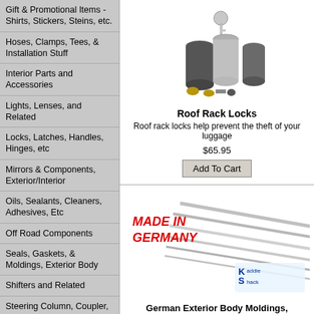Gift & Promotional Items - Shirts, Stickers, Steins, etc.
Hoses, Clamps, Tees, & Installation Stuff
Interior Parts and Accessories
Lights, Lenses, and Related
Locks, Latches, Handles, Hinges, etc
Mirrors & Components, Exterior/Interior
Oils, Sealants, Cleaners, Adhesives, Etc
Off Road Components
Seals, Gaskets, & Moldings, Exterior Body
Shifters and Related
Steering Column, Coupler, & Related Parts
Steering Wheels & Adapters
Rear Suspension & Handling
Tune Up & Maintenance
[Figure (photo): Roof rack lock set with key, cylindrical stainless steel locks and brass inserts]
Roof Rack Locks
Roof rack locks help prevent the theft of your luggage
$65.95
Add To Cart
[Figure (photo): German Exterior Body Moldings set with MADE IN GERMANY badge and Kaddie Shack logo]
German Exterior Body Moldings, Complete Set, '53 Bug
Are your body moldings dented, missing, dull, bent, e... Nothing beats the quality, shine, and fit of OEM GERM...